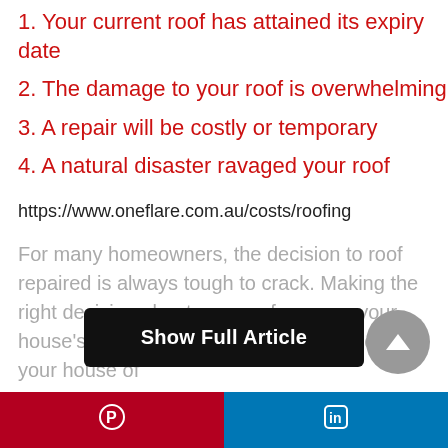1. Your current roof has attained its expiry date
2. The damage to your roof is overwhelming
3. A repair will be costly or temporary
4. A natural disaster ravaged your roof
https://www.oneflare.com.au/costs/roofing
For many homeowners, the decision to roof repaired is always tough to crack. Making the right decision about your roof ensures your house’s optimal performance and protects your house of
Show Full Article
Pinterest | LinkedIn